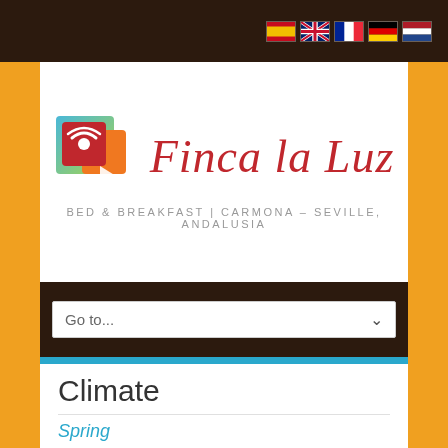Finca La Luz - BED & BREAKFAST | CARMONA – SEVILLE, ANDALUSIA
[Figure (logo): Finca La Luz logo with colorful square icon and red italic text, subtitle: BED & BREAKFAST | CARMONA – SEVILLE, ANDALUSIA]
Go to...
Climate
Spring
Starts early March with plenty of sunshine and daytime temperatures reaching smoothly 20 C°; in April and May 25 C° and